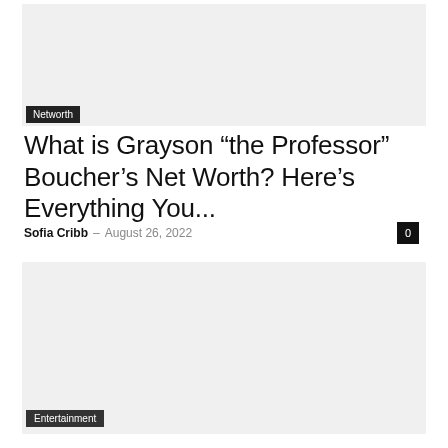[Figure (photo): Top image placeholder, light gray background]
Networth
What is Grayson “the Professor” Boucher’s Net Worth? Here’s Everything You...
Sofia Cribb – August 26, 2022
[Figure (photo): Bottom image placeholder, light gray background]
Entertainment